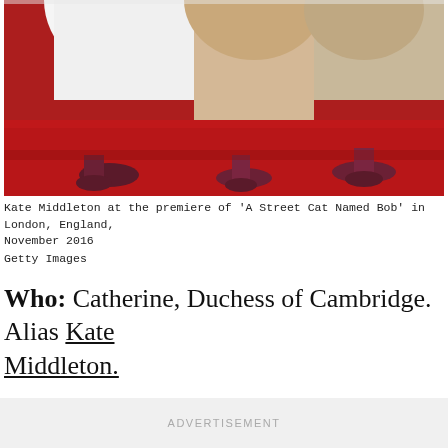[Figure (photo): Photo showing lower half of people standing on a red carpet, with white and beige dresses/clothing visible and dark heeled shoes on a red surface.]
Kate Middleton at the premiere of 'A Street Cat Named Bob' in London, England, November 2016
Getty Images
Who: Catherine, Duchess of Cambridge. Alias Kate Middleton.
ADVERTISEMENT